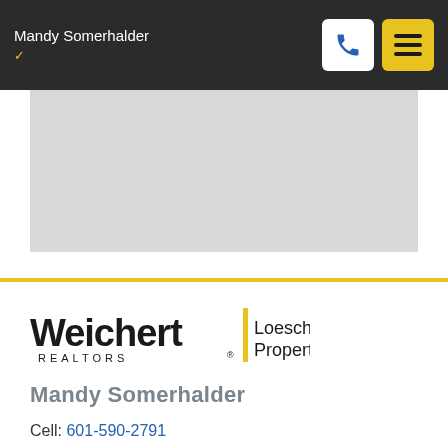Mandy Somerhalder
[Figure (map): Gray map placeholder area showing a map background]
[Figure (logo): Weichert Realtors | Loescher Properties logo]
Mandy Somerhalder
Cell: 601-590-2791